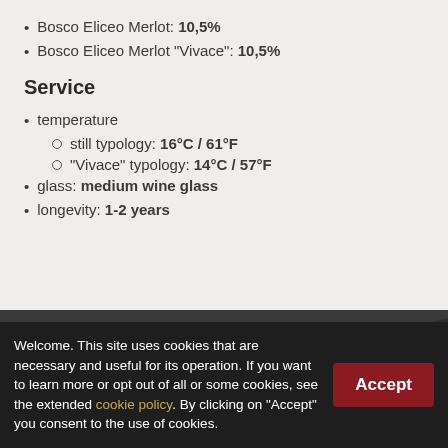Bosco Eliceo Merlot: 10,5%
Bosco Eliceo Merlot "Vivace": 10,5%
Service
temperature
still typology: 16°C / 61°F
"Vivace" typology: 14°C / 57°F
glass: medium wine glass
longevity: 1-2 years
Welcome. This site uses cookies that are necessary and useful for its operation. If you want to learn more or opt out of all or some cookies, see the extended cookie policy. By clicking on "Accept" you consent to the use of cookies.